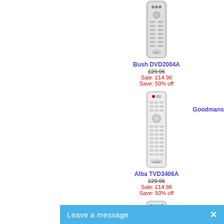[Figure (photo): Bush DVD2004A remote control - grey slim remote with DVD logo]
Bush DVD2004A
£29.95
Sale: £14.98
Save: 50% off
Goodmans
[Figure (photo): Alba TVD3406A remote control - white slim universal remote]
Alba TVD3406A
£29.95
Sale: £14.98
Save: 50% off
[Figure (photo): Third remote control - partially visible at bottom of page]
Leave a message